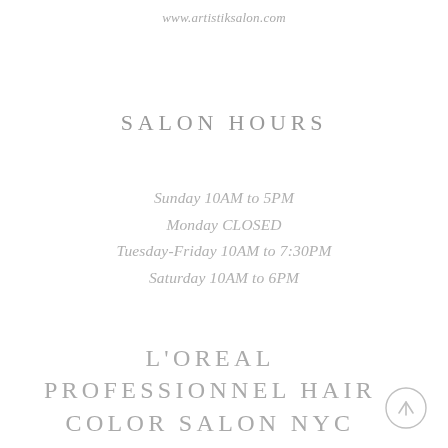www.artistiksalon.com
SALON HOURS
Sunday 10AM to 5PM
Monday CLOSED
Tuesday-Friday 10AM to 7:30PM
Saturday 10AM to 6PM
L'OREAL PROFESSIONNEL HAIR COLOR SALON NYC